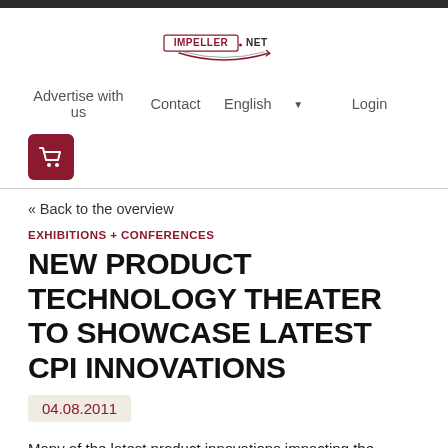[Figure (logo): Impeller.NET logo with red and black text and circular arrow graphic]
Advertise with us   Contact   English   Login
[Figure (other): Shopping cart icon in dark red rounded square]
« Back to the overview
EXHIBITIONS + CONFERENCES
NEW PRODUCT TECHNOLOGY THEATER TO SHOWCASE LATEST CPI INNOVATIONS
04.08.2011
Many of the latest product innovations impacting the Chemical Processing Industry (CPI) will take center stage in